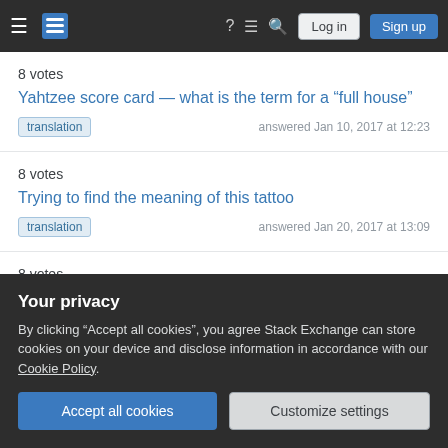Stack Exchange navigation bar with Log in and Sign up buttons
8 votes
Yahtzee score card — what is the term for a “full house”
translation   answered Jan 10, 2017 at 12:23
8 votes
Trying to find the meaning of this tattoo
translation   answered Jan 20, 2017 at 13:09
8 votes
Why it is called 全全全全?
Your privacy
By clicking “Accept all cookies”, you agree Stack Exchange can store cookies on your device and disclose information in accordance with our Cookie Policy.
Accept all cookies   Customize settings
answered Jan 25, 2018 at 3:13